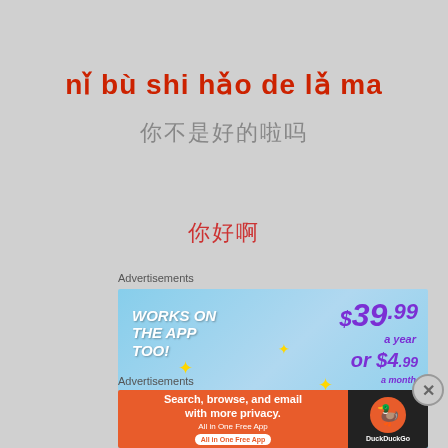nǐ bù shi hǎo de lǎ ma
你不是好的啦吗
你好啊
Advertisements
[Figure (infographic): Advertisement banner: WORKS ON THE APP TOO! $39.99 a year or $4.99 a month + FREE SHIPPING with a stylized letter T logo and sparkle stars on a blue sky background]
Advertisements
[Figure (infographic): DuckDuckGo advertisement: Search, browse, and email with more privacy. All in One Free App. Orange background with DuckDuckGo logo on dark background.]